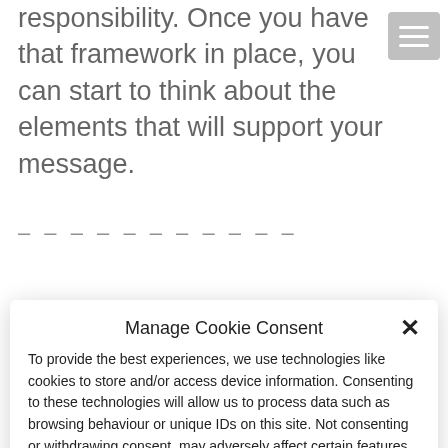responsibility. Once you have that framework in place, you can start to think about the elements that will support your message.
Manage Cookie Consent
To provide the best experiences, we use technologies like cookies to store and/or access device information. Consenting to these technologies will allow us to process data such as browsing behaviour or unique IDs on this site. Not consenting or withdrawing consent, may adversely affect certain features and functions.
Accept
View preferences
Cookie Policy  Privacy Policy